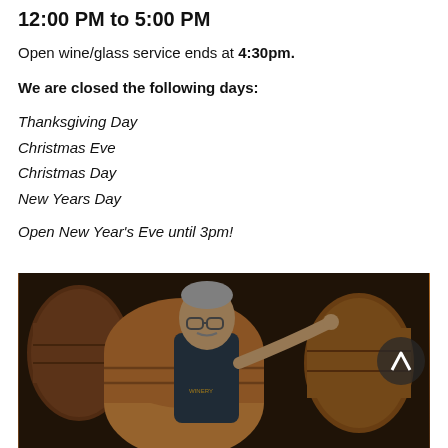12:00 PM to 5:00 PM
Open wine/glass service ends at 4:30pm.
We are closed the following days:
Thanksgiving Day
Christmas Eve
Christmas Day
New Years Day
Open New Year's Eve until 3pm!
[Figure (photo): Man in a dark polo shirt with glasses pointing at wine barrels in a winery cellar, with wooden barrels visible in the background.]